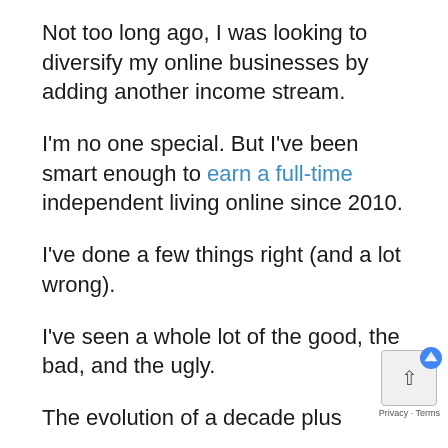Not too long ago, I was looking to diversify my online businesses by adding another income stream.
I'm no one special. But I've been smart enough to earn a full-time independent living online since 2010.
I've done a few things right (and a lot wrong).
I've seen a whole lot of the good, the bad, and the ugly.
The evolution of a decade plus